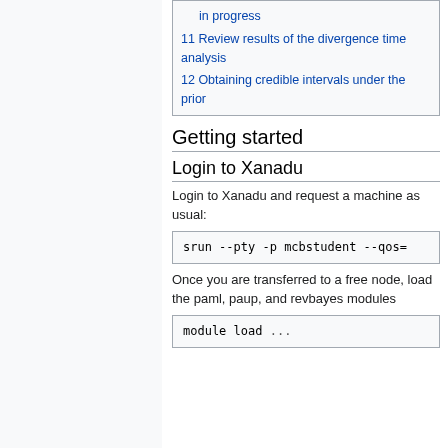in progress
11 Review results of the divergence time analysis
12 Obtaining credible intervals under the prior
Getting started
Login to Xanadu
Login to Xanadu and request a machine as usual:
srun --pty -p mcbstudent --qos=
Once you are transferred to a free node, load the paml, paup, and revbayes modules
module load ...